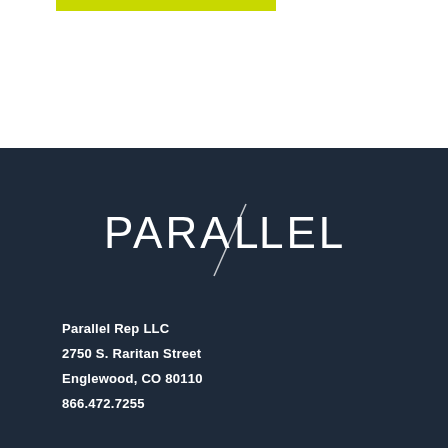[Figure (logo): Green horizontal bar decoration at top of page]
[Figure (logo): PARALLEL company logo in white on dark navy background, featuring stylized parallel lines through the letter L]
Parallel Rep LLC
2750 S. Raritan Street
Englewood, CO 80110
866.472.7255